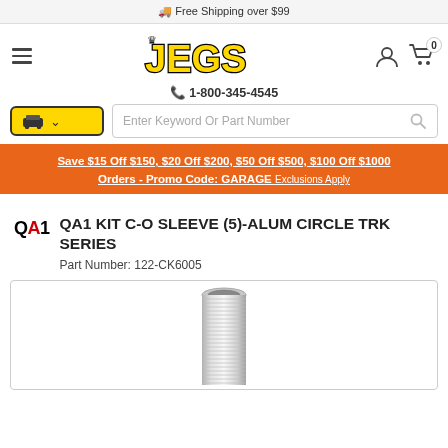Free Shipping over $99
[Figure (logo): JEGS logo with crown, hamburger menu, user icon and cart icon]
1-800-345-4545
Enter Keyword Or Part Number
Save $15 Off $150, $20 Off $200, $50 Off $500, $100 Off $1000 Orders - Promo Code: GARAGE Exclusions Apply
QA1 KIT C-O SLEEVE (5)-ALUM CIRCLE TRK SERIES
Part Number: 122-CK6005
[Figure (photo): QA1 aluminum coilover sleeve tube product photo]